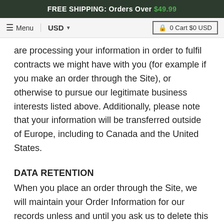FREE SHIPPING: Orders Over $49.99
≡ Menu  USD ▾   🔒 0 Cart $0 USD
are processing your information in order to fulfil contracts we might have with you (for example if you make an order through the Site), or otherwise to pursue our legitimate business interests listed above. Additionally, please note that your information will be transferred outside of Europe, including to Canada and the United States.
DATA RETENTION
When you place an order through the Site, we will maintain your Order Information for our records unless and until you ask us to delete this information.
CHANGES
We may update this privacy policy from time to time in order